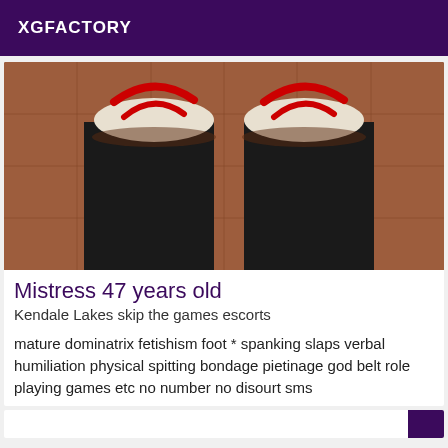XGFACTORY
[Figure (photo): Photo of person's legs in black pants and red sandals standing on a tiled floor]
Mistress 47 years old
Kendale Lakes skip the games escorts
mature dominatrix fetishism foot * spanking slaps verbal humiliation physical spitting bondage pietinage god belt role playing games etc no number no disourt sms